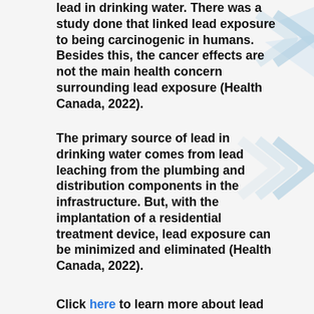lead in drinking water. There was a study done that linked lead exposure to being carcinogenic in humans. Besides this, the cancer effects are not the main health concern surrounding lead exposure (Health Canada, 2022).
The primary source of lead in drinking water comes from lead leaching from the plumbing and distribution components in the infrastructure. But, with the implantation of a residential treatment device, lead exposure can be minimized and eliminated (Health Canada, 2022).
Click here to learn more about lead
[Figure (illustration): Light blue decorative chevron/arrow shapes on the right side of the page]